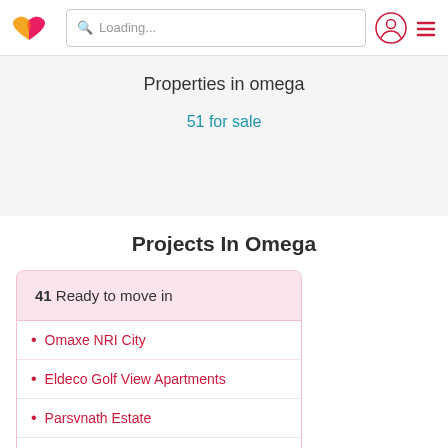[Figure (logo): Heart-shaped logo in yellow, orange, and red/pink colors]
Loading...
Properties in omega
51 for sale
Projects In Omega
41 Ready to move in
Omaxe NRI City
Eldeco Golf View Apartments
Parsvnath Estate
Black Gold Apartments
View more